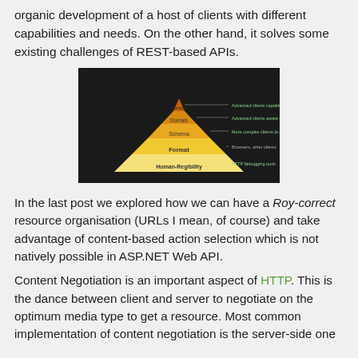organic development of a host of clients with different capabilities and needs. On the other hand, it solves some existing challenges of REST-based APIs.
[Figure (illustration): A pyramid diagram with a dark background showing layers labeled from top to bottom: Version, Domain, Schema, Format, Human-Regibility. Each layer has a description to the right in small green/white text.]
In the last post we explored how we can have a Roy-correct resource organisation (URLs I mean, of course) and take advantage of content-based action selection which is not natively possible in ASP.NET Web API.
Content Negotiation is an important aspect of HTTP. This is the dance between client and server to negotiate on the optimum media type to get a resource. Most common implementation of content negotiation is the server-side one